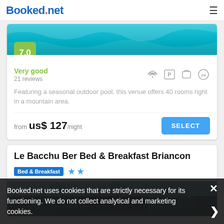Booked.net
[Figure (screenshot): Swimming pool teal water image with 7.0 green score badge]
Very good
21 reviews
[Figure (infographic): Amenity icons: WiFi, Parking, Luggage storage, 24-hour service]
Featuring a seasonal outdoor pool, this venue offers 40 rooms right in a mountain area.
from us$ 127/night
SELECT
Le Bacchu Ber Bed & Breakfast Briancon
Bed & Breakfast ★★
[Figure (photo): Rooftop/building exterior photo with mountain blue sky]
Booked.net uses cookies that are strictly necessary for its functioning. We do not collect analytical and marketing cookies.